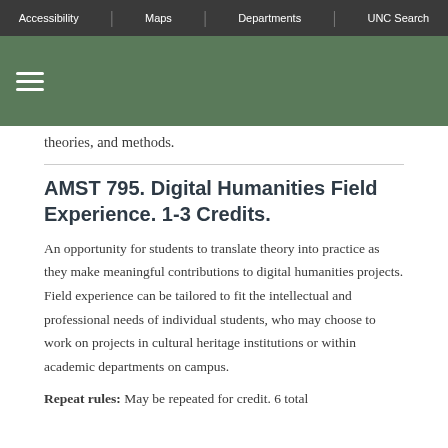Accessibility | Maps | Departments | UNC Search
theories, and methods.
AMST 795. Digital Humanities Field Experience. 1-3 Credits.
An opportunity for students to translate theory into practice as they make meaningful contributions to digital humanities projects. Field experience can be tailored to fit the intellectual and professional needs of individual students, who may choose to work on projects in cultural heritage institutions or within academic departments on campus.
Repeat rules: May be repeated for credit. 6 total